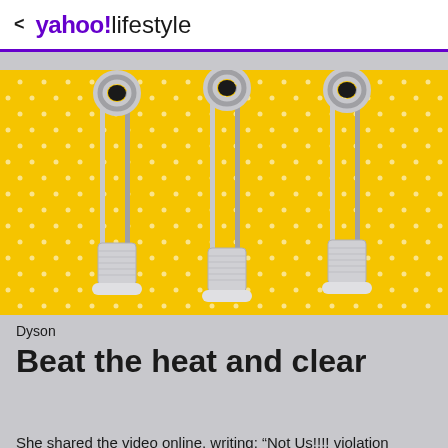< yahoo!lifestyle
[Figure (photo): Three Dyson bladeless tower fan/purifier units displayed against a yellow polka dot background]
Dyson
Beat the heat and clear
She shared the video online, writing: “Not Us!!!! violation